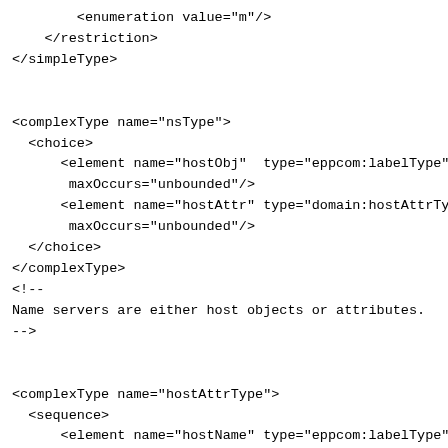<enumeration value="m"/>
    </restriction>
</simpleType>


<complexType name="nsType">
  <choice>
      <element name="hostObj" type="eppcom:labelType"
       maxOccurs="unbounded"/>
      <element name="hostAttr" type="domain:hostAttrType"
       maxOccurs="unbounded"/>
  </choice>
</complexType>
<!--
Name servers are either host objects or attributes.
-->


<complexType name="hostAttrType">
  <sequence>
      <element name="hostName" type="eppcom:labelType"/>
      <element name="hostAddr" type="host:addrType"
       minOccurs="0" maxOccurs="unbounded"/>
  </sequence>
</complexType>
<!--
If attributes, addresses are optional and follow the